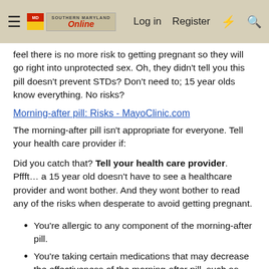Southern Maryland Online | Log in | Register
feel there is no more risk to getting pregnant so they will go right into unprotected sex. Oh, they didn't tell you this pill doesn't prevent STDs? Don't need to; 15 year olds know everything. No risks?
Morning-after pill: Risks - MayoClinic.com
The morning-after pill isn't appropriate for everyone. Tell your health care provider if:
Did you catch that? Tell your health care provider. Pffft… a 15 year old doesn't have to see a healthcare provider and wont bother. And they wont bother to read any of the risks when desperate to avoid getting pregnant.
You're allergic to any component of the morning-after pill.
You're taking certain medications that may decrease the effectiveness of the morning-after pill, such as